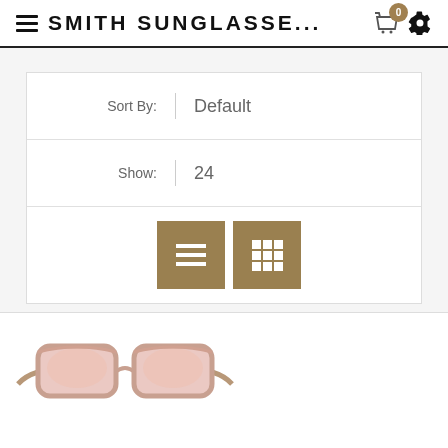SMITH SUNGLASSE...
Sort By: Default
Show: 24
[Figure (screenshot): Two view-toggle buttons (list view and grid view) in tan/brown color]
[Figure (photo): Smith sunglasses with tortoise shell frame and pink/rose gold mirrored lenses, partially visible at bottom of page]